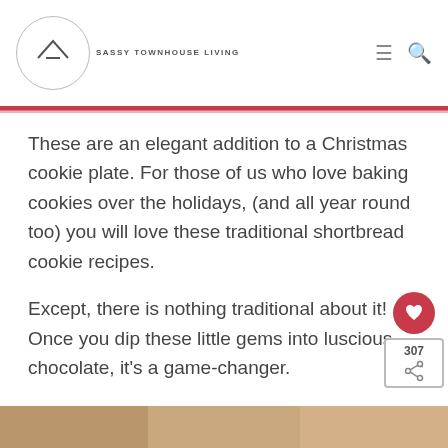SASSY TOWNHOUSE LIVING
These are an elegant addition to a Christmas cookie plate. For those of us who love baking cookies over the holidays, (and all year round too) you will love these traditional shortbread cookie recipes.
Except, there is nothing traditional about it! Once you dip these little gems into luscious chocolate, it’s a game-changer.
[Figure (photo): Bottom photo strip showing cookies or food item]